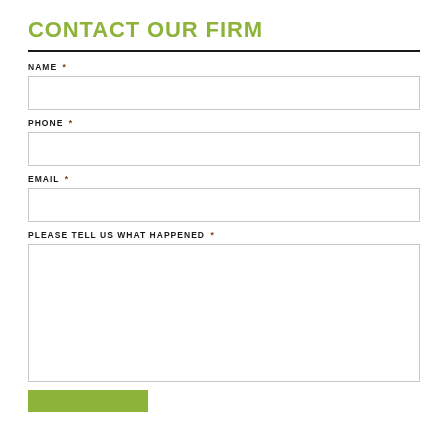CONTACT OUR FIRM
NAME *
PHONE *
EMAIL *
PLEASE TELL US WHAT HAPPENED *